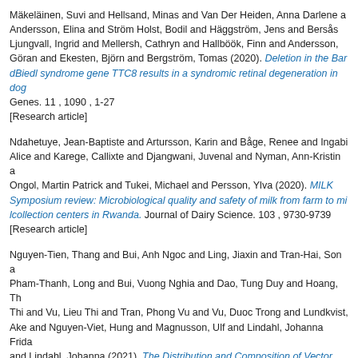Mäkeläinen, Suvi and Hellsand, Minas and Van Der Heiden, Anna Darlene and Andersson, Elina and Ström Holst, Bodil and Häggström, Jens and Bersås Ljungvall, Ingrid and Mellersh, Cathryn and Hallböök, Finn and Andersson, Göran and Ekesten, Björn and Bergström, Tomas (2020). Deletion in the Bardet-Biedl syndrome gene TTC8 results in a syndromic retinal degeneration in dogs. Genes. 11 , 1090 , 1-27 [Research article]
Ndahetuye, Jean-Baptiste and Artursson, Karin and Båge, Renee and Ingabire, Alice and Karege, Callixte and Djangwani, Juvenal and Nyman, Ann-Kristin and Ongol, Martin Patrick and Tukei, Michael and Persson, Ylva (2020). MILK Symposium review: Microbiological quality and safety of milk from farm to milk collection centers in Rwanda. Journal of Dairy Science. 103 , 9730-9739 [Research article]
Nguyen-Tien, Thang and Bui, Anh Ngoc and Ling, Jiaxin and Tran-Hai, Son and Pham-Thanh, Long and Bui, Vuong Nghia and Dao, Tung Duy and Hoang, Thanh Thi and Vu, Lieu Thi and Tran, Phong Vu and Vu, Duoc Trong and Lundkvist, Ake and Nguyen-Viet, Hung and Magnusson, Ulf and Lindahl, Johanna Frida and Lindahl, Johanna (2021). The Distribution and Composition of Vector Abundance in Hanoi City, Vietnam: Association with Livestock Keeping and Flavivirus Detection. Viruses. 13 , 2291 [Research article]
Nguyen-Tien, Thang and Thanh Pham, Long and Vu, Duoc Trong and Tran, Son Hai and Vu, Lieu Thi and Bui, Vuong Nghia and Bui-Ngoc, Anh and Hoang, Trung Duc and Vu, Thanh Thi and Nguyen-Viet, Hung and Magnusson, Ulf and Lundkvist, Åke and Lindahl, Johanna (2021). Knowledge and practice on prevention of mosquito-borne diseases in livestock-keeping and non-livestock-keeping communities in Hanoi city, Vietnam: A mixed-method study. PLoS ONE